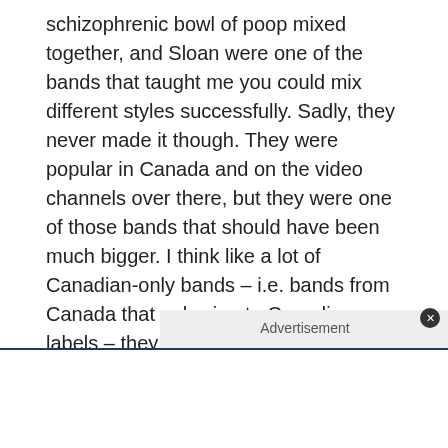schizophrenic bowl of poop mixed together, and Sloan were one of the bands that taught me you could mix different styles successfully. Sadly, they never made it though. They were popular in Canada and on the video channels over there, but they were one of those bands that should have been much bigger. I think like a lot of Canadian-only bands – i.e. bands from Canada that only sign to Canadian labels – they screwed themselves over, as it's a terrible business over there. I think they would've been massive in the UK if they'd gotten out of Canada.
[Figure (other): Advertisement placeholder box with grey background]